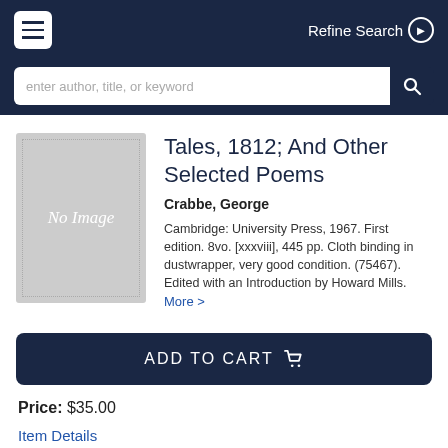Refine Search
enter author, title, or keyword
Tales, 1812; And Other Selected Poems
Crabbe, George
Cambridge: University Press, 1967. First edition. 8vo. [xxxviii], 445 pp. Cloth binding in dustwrapper, very good condition. (75467). Edited with an Introduction by Howard Mills. More >
ADD TO CART
Price: $35.00
Item Details
Ask a Question